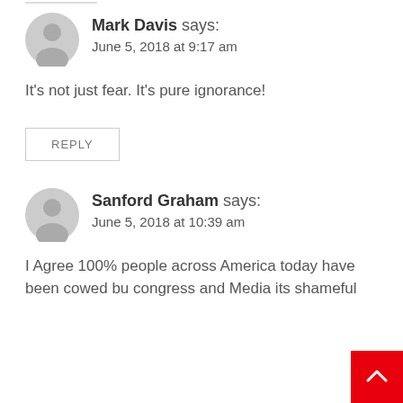Mark Davis says:
June 5, 2018 at 9:17 am
It's not just fear. It's pure ignorance!
REPLY
Sanford Graham says:
June 5, 2018 at 10:39 am
I Agree 100% people across America today have been cowed bu congress and Media its shameful